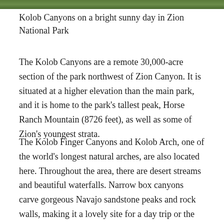[Figure (photo): Narrow strip of photo at top of page showing Kolob Canyons vegetation, green foliage visible]
Kolob Canyons on a bright sunny day in Zion National Park
The Kolob Canyons are a remote 30,000-acre section of the park northwest of Zion Canyon. It is situated at a higher elevation than the main park, and it is home to the park's tallest peak, Horse Ranch Mountain (8726 feet), as well as some of Zion's youngest strata.
The Kolob Finger Canyons and Kolob Arch, one of the world's longest natural arches, are also located here. Throughout the area, there are desert streams and beautiful waterfalls. Narrow box canyons carve gorgeous Navajo sandstone peaks and rock walls, making it a lovely site for a day trip or the start of a multi-day journey.